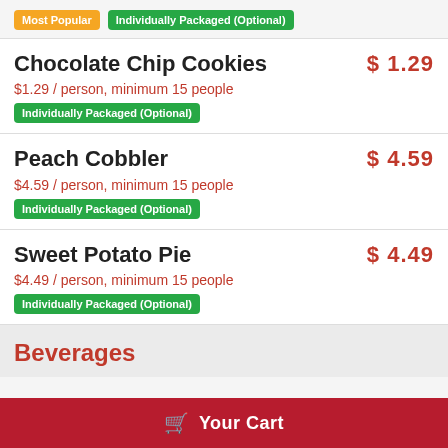Most Popular | Individually Packaged (Optional)
Chocolate Chip Cookies — $1.29 / person, minimum 15 people — Individually Packaged (Optional) — $1.29
Peach Cobbler — $4.59 / person, minimum 15 people — Individually Packaged (Optional) — $4.59
Sweet Potato Pie — $4.49 / person, minimum 15 people — Individually Packaged (Optional) — $4.49
Beverages
Your Cart